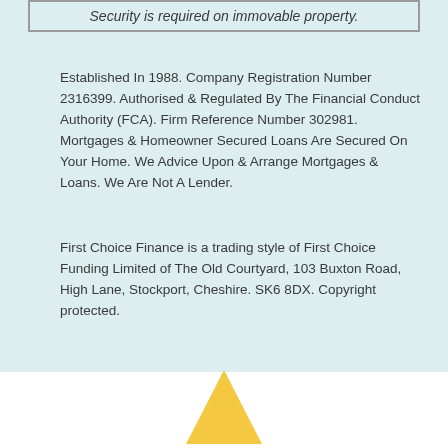Security is required on immovable property.
Established In 1988. Company Registration Number 2316399. Authorised & Regulated By The Financial Conduct Authority (FCA). Firm Reference Number 302981. Mortgages & Homeowner Secured Loans Are Secured On Your Home. We Advice Upon & Arrange Mortgages & Loans. We Are Not A Lender.
First Choice Finance is a trading style of First Choice Funding Limited of The Old Courtyard, 103 Buxton Road, High Lane, Stockport, Cheshire. SK6 8DX. Copyright protected.
[Figure (illustration): Yellow triangle / arrow pointing upward, partially visible at bottom of page]